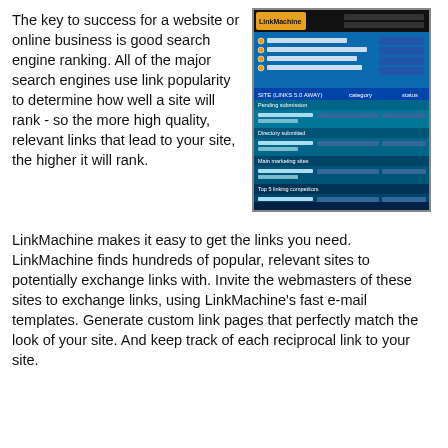The key to success for a website or online business is good search engine ranking. All of the major search engines use link popularity to determine how well a site will rank - so the more high quality, relevant links that lead to your site, the higher it will rank.
[Figure (screenshot): Screenshot of the LinkMachine software interface showing a blue-themed application with a logo, search result entries, category and status columns.]
LinkMachine makes it easy to get the links you need. LinkMachine finds hundreds of popular, relevant sites to potentially exchange links with. Invite the webmasters of these sites to exchange links, using LinkMachine's fast e-mail templates. Generate custom link pages that perfectly match the look of your site. And keep track of each reciprocal link to your site.